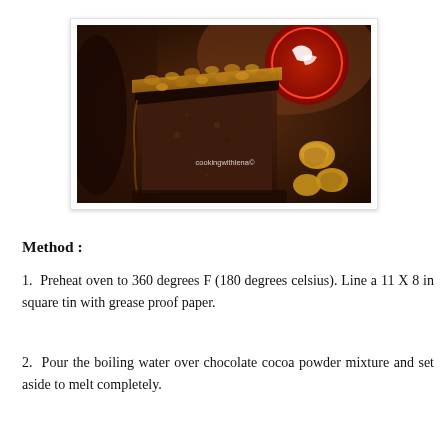[Figure (photo): A slice of chocolate walnut cake with walnut topping, photographed on a dark surface with walnuts scattered around. Watermark reads 'cookingwithlena©']
Method :
1.  Preheat oven to 360 degrees F (180 degrees celsius). Line a 11 X 8 in square tin with grease proof paper.
2.  Pour the boiling water over chocolate cocoa powder mixture and set aside to melt completely.